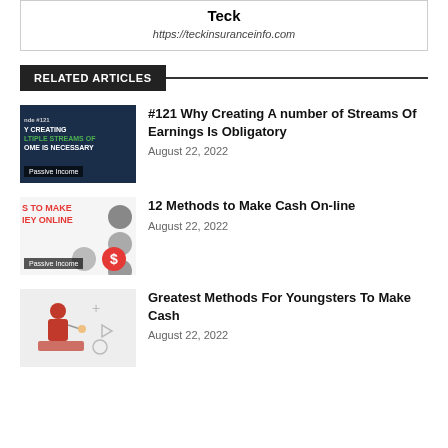Teck
https://teckinsuranceinfo.com
RELATED ARTICLES
#121 Why Creating A number of Streams Of Earnings Is Obligatory
August 22, 2022
12 Methods to Make Cash On-line
August 22, 2022
Greatest Methods For Youngsters To Make Cash
August 22, 2022